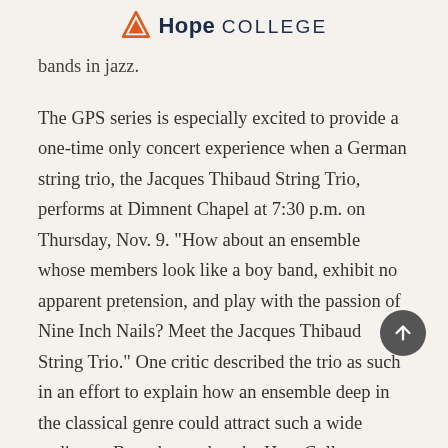Hope College
bands in jazz.
The GPS series is especially excited to provide a one-time only concert experience when a German string trio, the Jacques Thibaud String Trio, performs at Dimnent Chapel at 7:30 p.m. on Thursday, Nov. 9. "How about an ensemble whose members look like a boy band, exhibit no apparent pretension, and play with the passion of Nine Inch Nails? Meet the Jacques Thibaud String Trio." One critic described the trio as such in an effort to explain how an ensemble deep in the classical genre could attract such a wide audience. But what makes the HopeCollege appearance truly unique is the trio's